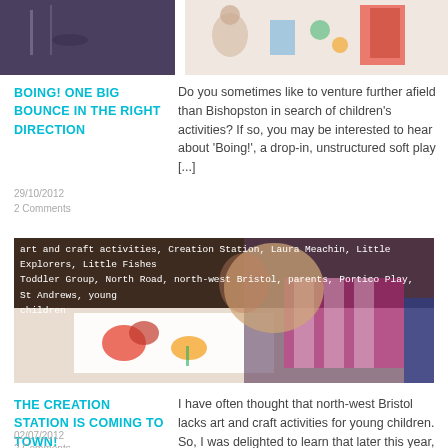[Figure (photo): Two partial photos at top: left shows a purple/dark background with objects, right shows children playing near colorful educational materials]
BOING! ONE BIG BOUNCE IN THE RIGHT DIRECTION
29/10/2012
2 Comments
Do you sometimes like to venture further afield than Bishopston in search of children's activities? If so, you may be interested to hear about 'Boing!', a drop-in, unstructured soft play [...]
[Figure (photo): Child doing an art/craft activity with colorful paper, overlaid with tag text listing: art and craft activities, Creation Station, Laura Meachin, Little Explorers, Little Fishes Toddler Group, North Road, north-west Bristol, parents, Portico Play, St Andrews, young children]
THE CREATION STATION IS COMING TO TOWN!
I have often thought that north-west Bristol lacks art and craft activities for young children. So, I was delighted to learn that later this year, this will change when the [...]
02/07/2012
2 Comments